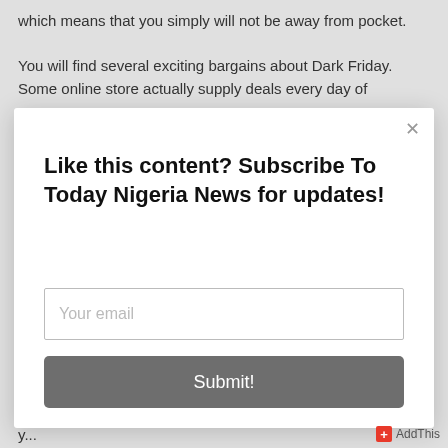which means that you simply will not be away from pocket.
You will find several exciting bargains about Dark Friday. Some online store actually supply deals every day of
[Figure (screenshot): A modal popup dialog box with a close X button in the top-right corner, a bold heading reading 'Like this content? Subscribe To Today Nigeria News for updates!', an email input field with placeholder text 'Your email', and a dark gray Submit button. An AddThis badge appears in the bottom-right corner.]
y...